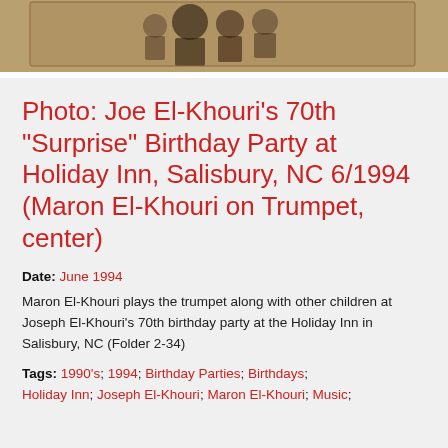[Figure (photo): Cropped photograph showing people at a birthday party, partially visible at top of page]
Photo: Joe El-Khouri's 70th "Surprise" Birthday Party at Holiday Inn, Salisbury, NC 6/1994 (Maron El-Khouri on Trumpet, center)
Date: June 1994
Maron El-Khouri plays the trumpet along with other children at Joseph El-Khouri's 70th birthday party at the Holiday Inn in Salisbury, NC (Folder 2-34)
Tags: 1990's; 1994; Birthday Parties; Birthdays; Holiday Inn; Joseph El-Khouri; Maron El-Khouri; Music;